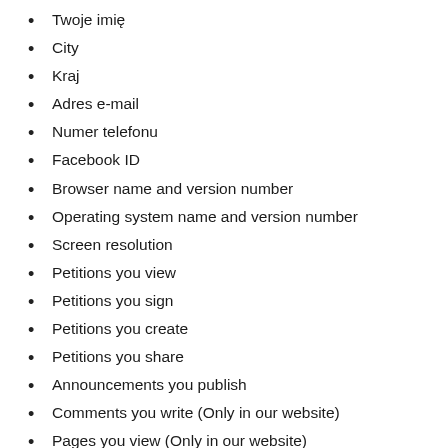Twoje imię
City
Kraj
Adres e-mail
Numer telefonu
Facebook ID
Browser name and version number
Operating system name and version number
Screen resolution
Petitions you view
Petitions you sign
Petitions you create
Petitions you share
Announcements you publish
Comments you write (Only in our website)
Pages you view (Only in our website)
Payments you make (Only in our website)
Messages you send (Only in our website)
Adres ip na liście (Only in our website)